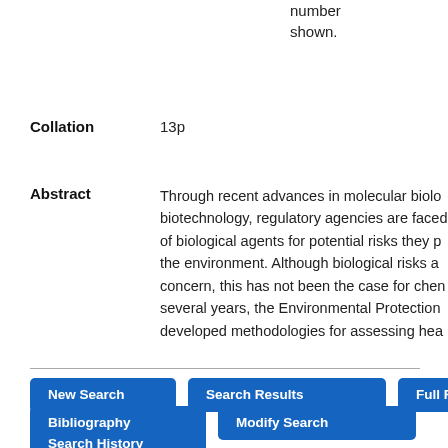number shown.
Collation   13p
Abstract   Through recent advances in molecular biology and biotechnology, regulatory agencies are faced with evaluation of biological agents for potential risks they pose to the environment. Although biological risks are of concern, this has not been the case for chemicals. For several years, the Environmental Protection developed methodologies for assessing hea
New Search
Search Results
Full Record
Bibliography
Modify Search
Search History